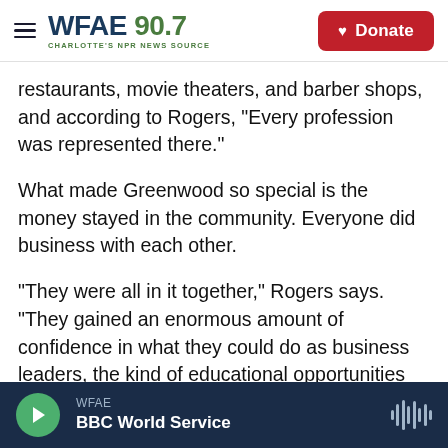WFAE 90.7 — CHARLOTTE'S NPR NEWS SOURCE | Donate
restaurants, movie theaters, and barber shops, and according to Rogers, "Every profession was represented there."
What made Greenwood so special is the money stayed in the community. Everyone did business with each other.
"They were all in it together," Rogers says. "They gained an enormous amount of confidence in what they could do as business leaders, the kind of educational opportunities they would be able to give their kids," he adds. "You know, to build multi-
WFAE — BBC World Service